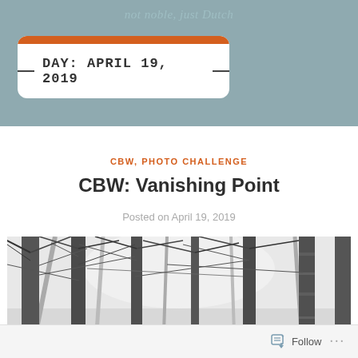not noble, just Dutch
DAY: APRIL 19, 2019
CBW, PHOTO CHALLENGE
CBW: Vanishing Point
Posted on April 19, 2019
[Figure (photo): Black and white photograph of tall bare trees in winter, looking up through the forest canopy creating a vanishing point effect]
Follow